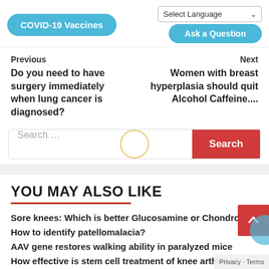[Figure (screenshot): COVID-19 Vaccines button and Select Language dropdown with Ask a Question button in navigation bar]
Previous
Do you need to have surgery immediately when lung cancer is diagnosed?
Next
Women with breast hyperplasia should quit Alcohol Caffeine....
[Figure (screenshot): Search input field with Search button]
YOU MAY ALSO LIKE
Sore knees: Which is better Glucosamine or Chondroi...
How to identify patellomalacia?
AAV gene restores walking ability in paralyzed mice
How effective is stem cell treatment of knee arthritis?